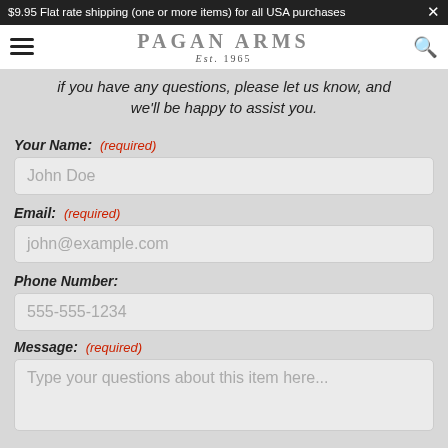$9.95 Flat rate shipping (one or more items) for all USA purchases
PAGAN ARMS Est. 1965
if you have any questions, please let us know, and we'll be happy to assist you.
Your Name: (required)
John Doe
Email: (required)
john@example.com
Phone Number:
555-555-1234
Message: (required)
Type your questions about this item here...